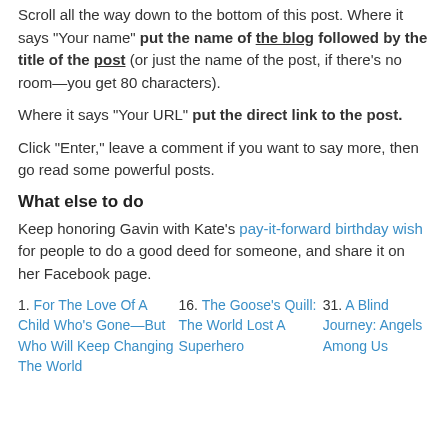Scroll all the way down to the bottom of this post. Where it says "Your name" put the name of the blog followed by the title of the post (or just the name of the post, if there's no room—you get 80 characters).
Where it says "Your URL" put the direct link to the post.
Click "Enter," leave a comment if you want to say more, then go read some powerful posts.
What else to do
Keep honoring Gavin with Kate's pay-it-forward birthday wish for people to do a good deed for someone, and share it on her Facebook page.
1. For The Love Of A Child Who's Gone—But Who Will Keep Changing The World
16. The Goose's Quill: The World Lost A Superhero
31. A Blind Journey: Angels Among Us